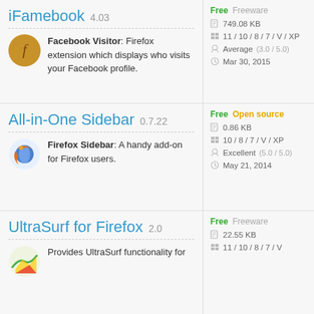iFamebook 4.03
Facebook Visitor: Firefox extension which displays who visits your Facebook profile.
Free  Freeware
749.08 KB
11 / 10 / 8 / 7 / V / XP
Average (3.0 / 5.0)
Mar 30, 2015
All-in-One Sidebar 0.7.22
Firefox Sidebar: A handy add-on for Firefox users.
Free  Open source
0.86 KB
10 / 8 / 7 / V / XP
Excellent (5.0 / 5.0)
May 21, 2014
UltraSurf for Firefox 2.0
Provides UltraSurf functionality for
Free  Freeware
22.55 KB
11 / 10 / 8 / 7 / V